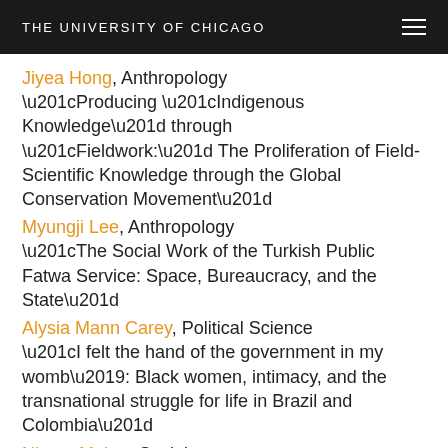THE UNIVERSITY OF CHICAGO
Jiyea Hong, Anthropology
“Producing “Indigenous Knowledge” through “Fieldwork:” The Proliferation of Field-Scientific Knowledge through the Global Conservation Movement”
Myungji Lee, Anthropology
“The Social Work of the Turkish Public Fatwa Service: Space, Bureaucracy, and the State”
Alysia Mann Carey, Political Science
“I felt the hand of the government in my womb’: Black women, intimacy, and the transnational struggle for life in Brazil and Colombia”
Nisarg Mehta, Sociology
“The World’s Largest Democracy”: Hindu Nationalism, Indian Statecraft and the Global diaspora